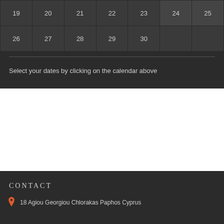| 19 | 20 | 21 | 22 | 23 | 24 | 25 |
| 26 | 27 | 28 | 29 | 30 |  |  |
Select your dates by clicking on the calendar above
CONTACT
18 Agiou Georgiou Chlorakas Paphos Cyprus